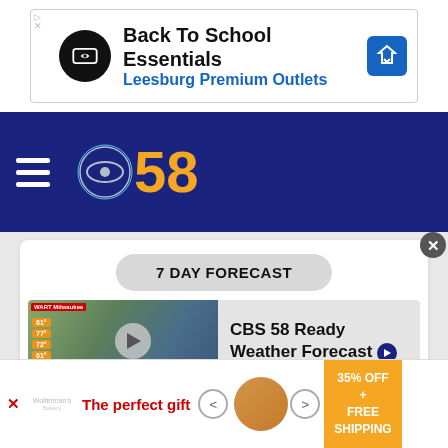[Figure (other): Advertisement banner: Back To School Essentials - Leesburg Premium Outlets with logo and arrow icon]
[Figure (logo): CBS 58 navigation bar with hamburger menu and CBS eye logo with '58' in gold text on dark blue background]
7 DAY FORECAST
[Figure (screenshot): CBS 58 Ready Weather Forecast video thumbnail showing Milwaukee weather map with temperature boxes]
CBS 58 Ready Weather Forecast
RADAR
MAPS
CAMERAS
[Figure (other): Bottom advertisement: The perfect gift - 35% OFF + FREE SHIPPING with bowl image and navigation arrows]